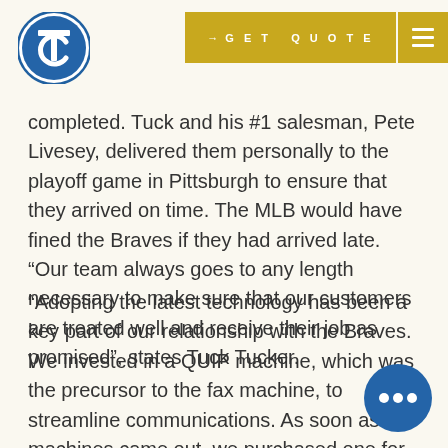[Figure (logo): TC circular logo in blue and white]
[Figure (other): Gold GET QUOTE button with arrow and hamburger menu icon]
completed. Tuck and his #1 salesman, Pete Livesey, delivered them personally to the playoff game in Pittsburgh to ensure that they arrived on time. The MLB would have fined the Braves if they had arrived late. “Our team always goes to any length necessary to make sure that our customers are treated well and receive their job as promised”, states Tuck Tucker.
“Adopting the latest technology has been a key part of our relationship with the Braves. We invested in a QUIP machine, which was the precursor to the fax machine, to streamline communications. As soon as fax machines came out, we purchased one for our office and for our ten
[Figure (illustration): Blue circular chat bubble icon with ellipsis]